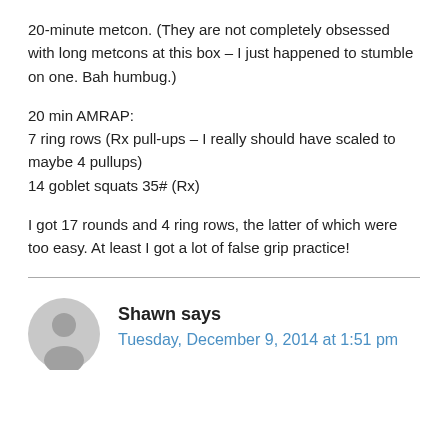20-minute metcon. (They are not completely obsessed with long metcons at this box – I just happened to stumble on one. Bah humbug.)
20 min AMRAP:
7 ring rows (Rx pull-ups – I really should have scaled to maybe 4 pullups)
14 goblet squats 35# (Rx)
I got 17 rounds and 4 ring rows, the latter of which were too easy. At least I got a lot of false grip practice!
Shawn says
Tuesday, December 9, 2014 at 1:51 pm